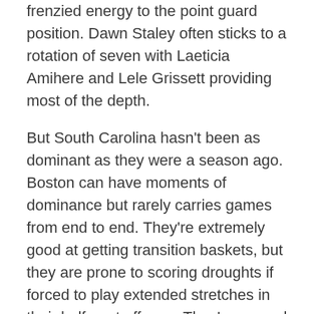frenzied energy to the point guard position. Dawn Staley often sticks to a rotation of seven with Laeticia Amihere and Lele Grissett providing most of the depth.
But South Carolina hasn't been as dominant as they were a season ago. Boston can have moments of dominance but rarely carries games from end to end. They're extremely good at getting transition baskets, but they are prone to scoring droughts if forced to play extended stretches in their halfcourt offense. They've scored an average of 57 points in their four losses, and even layups can be tough to come by. Tennessee was able to match South Carolina's length and physicality, and Texas A&M was able to control tempo and halt the South Carolina transition offense. The Gamecocks have had to replace key players several times during their time atop the conference, but the departure of point guard Ty Harris has been underrated both from a production and